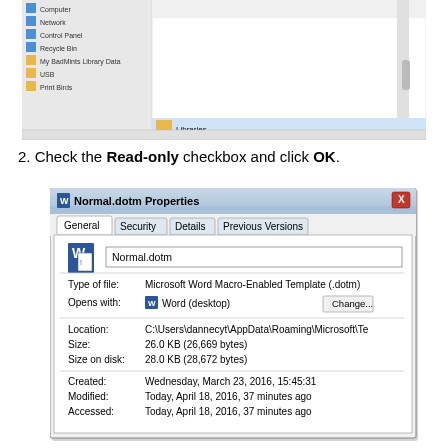[Figure (screenshot): Windows Explorer navigation pane showing Computer, Network, Control Panel, Recycle Bin, My BadMints Library Data, folders, with Libraries item at bottom]
2. Check the Read-only checkbox and click OK.
[Figure (screenshot): Windows dialog: Normal.dotm Properties. Tabs: General (active), Security, Details, Previous Versions. Shows filename Normal.dotm, Type of file: Microsoft Word Macro-Enabled Template (.dotm), Opens with: Word (desktop) with Change button. Location: C:\Users\dannecyt\AppData\Roaming\Microsoft\Te, Size: 26.0 KB (26,669 bytes), Size on disk: 28.0 KB (28,672 bytes), Created: Wednesday, March 23, 2016, 15:45:31, Modified: Today, April 18, 2016, 37 minutes ago, Accessed: Today, April 18, 2016, 37 minutes ago]